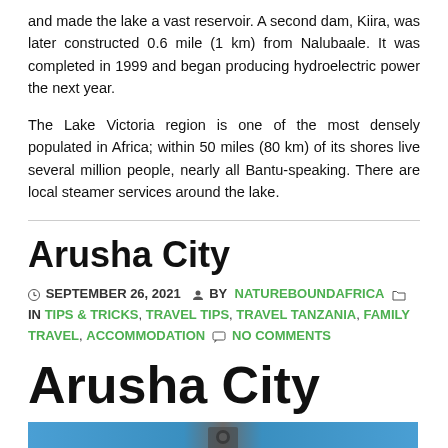and made the lake a vast reservoir. A second dam, Kiira, was later constructed 0.6 mile (1 km) from Nalubaale. It was completed in 1999 and began producing hydroelectric power the next year.
The Lake Victoria region is one of the most densely populated in Africa; within 50 miles (80 km) of its shores live several million people, nearly all Bantu-speaking. There are local steamer services around the lake.
Arusha City
SEPTEMBER 26, 2021  BY NATUREBOUNDAFRICA  IN TIPS & TRICKS, TRAVEL TIPS, TRAVEL TANZANIA, FAMILY TRAVEL, ACCOMMODATION  NO COMMENTS
Arusha City
[Figure (photo): Partial view of a photo strip at the bottom of the page, showing a blue/teal outdoor scene]